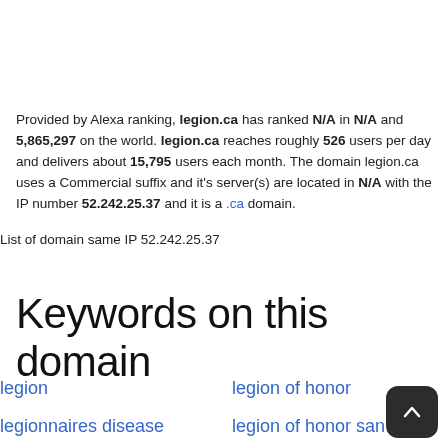Provided by Alexa ranking, legion.ca has ranked N/A in N/A and 5,865,297 on the world. legion.ca reaches roughly 526 users per day and delivers about 15,795 users each month. The domain legion.ca uses a Commercial suffix and it's server(s) are located in N/A with the IP number 52.242.25.37 and it is a .ca domain.
List of domain same IP 52.242.25.37
Keywords on this domain
legion
legion of honor
legionnaires disease
legion of honor san fra…